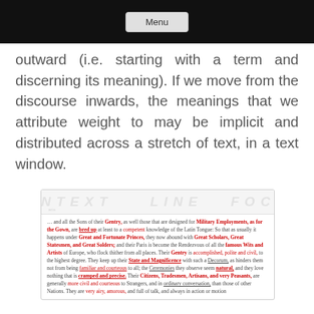Menu
outward (i.e. starting with a term and discerning its meaning). If we move from the discourse inwards, the meanings that we attribute weight to may be implicit and distributed across a stretch of text, in a text window.
[Figure (screenshot): Screenshot of a text analysis tool showing a passage of historical English text with highlighted terms in red/bold including: Gentry, Military Employments, as for the Gown, bred up, competent, Great and Fortunate Princes, Great Scholars, Great Statesmen, and Great Solders, famous Wits and Artists, Gentry, accomplished, polite and civil, State and Magnificence, Decorum, familiar and courteous, Ceremonies, natural, cramped and precise, Citizens, Tradesmen, Artisans, and very Peasants, more civil and courteous, ordinary conversation, very airy, amorous. The image includes a watermark area at the top with 'context', 'line', 'focus' labels.]